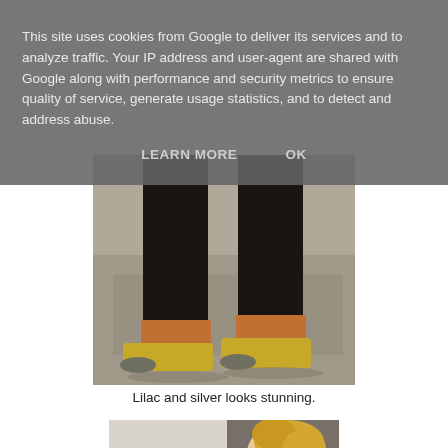This site uses cookies from Google to deliver its services and to analyze traffic. Your IP address and user-agent are shared with Google along with performance and security metrics to ensure quality of service, generate usage statistics, and to detect and address abuse.
LEARN MORE    OK
[Figure (photo): Close-up photograph of a person's legs from the knees down, wearing black trousers and gold/silver pointed-toe high heel shoes with orange ankle detail, standing on a concrete surface.]
Lilac and silver looks stunning.
[Figure (photo): Partial photograph showing a person with curly blonde hair and glasses, wearing a white top, standing near a wall.]